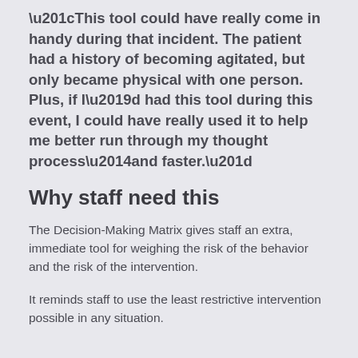“This tool could have really come in handy during that incident. The patient had a history of becoming agitated, but only became physical with one person. Plus, if I’d had this tool during this event, I could have really used it to help me better run through my thought process—and faster.”
Why staff need this
The Decision-Making Matrix gives staff an extra, immediate tool for weighing the risk of the behavior and the risk of the intervention.
It reminds staff to use the least restrictive intervention possible in any situation.